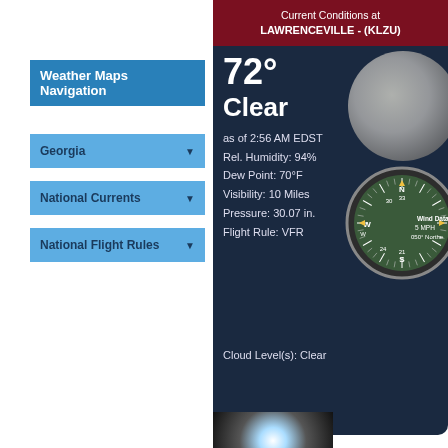Weather Maps Navigation
Georgia
National Currents
National Flight Rules
Current Conditions at LAWRENCEVILLE - (KLZU)
[Figure (infographic): Weather conditions display showing moon image, 72 degrees, Clear, as of 2:56 AM EDST, Rel. Humidity 94%, Dew Point 70F, Visibility 10 Miles, Pressure 30.07 in., Flight Rule VFR, compass showing Wind Data 5 MPH 050 Northeast, Cloud Levels Clear]
72°
Clear
as of 2:56 AM EDST
Rel. Humidity: 94%
Dew Point: 70°F
Visibility: 10 Miles
Pressure: 30.07 in.
Flight Rule: VFR
Wind Data:
5 MPH
050° Northe
Cloud Level(s): Clear